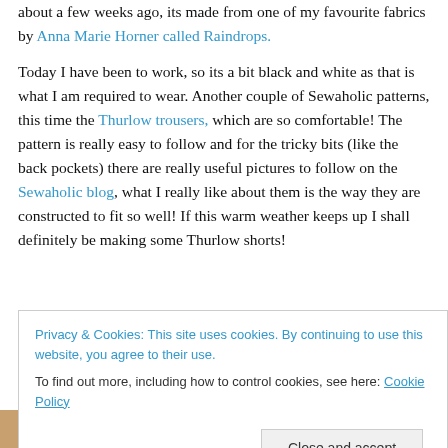about a few weeks ago, its made from one of my favourite fabrics by Anna Marie Horner called Raindrops.

Today I have been to work, so its a bit black and white as that is what I am required to wear. Another couple of Sewaholic patterns, this time the Thurlow trousers, which are so comfortable! The pattern is really easy to follow and for the tricky bits (like the back pockets) there are really useful pictures to follow on the Sewaholic blog, what I really like about them is the way they are constructed to fit so well! If this warm weather keeps up I shall definitely be making some Thurlow shorts!
Privacy & Cookies: This site uses cookies. By continuing to use this website, you agree to their use.
To find out more, including how to control cookies, see here: Cookie Policy
Close and accept
[Figure (photo): Photo strip at bottom of page showing a person]